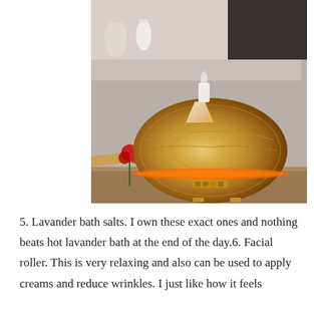[Figure (photo): A wood-grain ultrasonic essential oil diffuser with an orange LED light ring around its base, sitting on a wooden surface. A red flower and a wooden board are visible to the left. Decorative vases are visible in the blurred background.]
5. Lavander bath salts. I own these exact ones and nothing beats hot lavander bath at the end of the day.6. Facial roller. This is very relaxing and also can be used to apply creams and reduce wrinkles. I just like how it feels